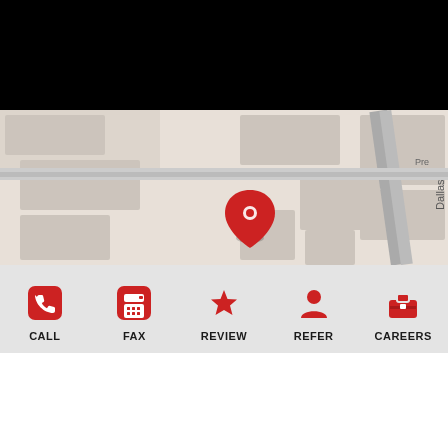Support
Online Billing & Payments
File A Claim
Policy Change Request
Annual Insurance Review
[Figure (map): Street map showing Dallas road with a red location pin marker near Noel Rd intersection]
[Figure (infographic): Bottom navigation bar with five icons: CALL (phone), FAX (fax machine), REVIEW (star), REFER (person), CAREERS (briefcase) — all in red on light gray background]